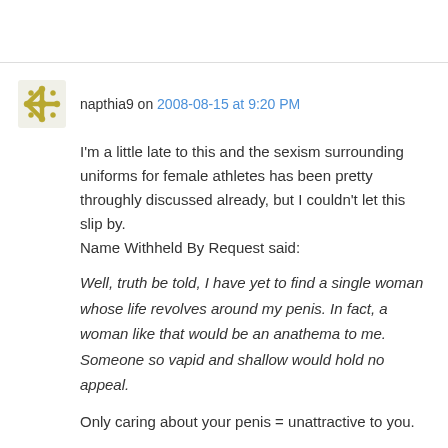napthia9 on 2008-08-15 at 9:20 PM
I'm a little late to this and the sexism surrounding uniforms for female athletes has been pretty throughly discussed already, but I couldn't let this slip by.
Name Withheld By Request said:
Well, truth be told, I have yet to find a single woman whose life revolves around my penis. In fact, a woman like that would be an anathema to me. Someone so vapid and shallow would hold no appeal.
Only caring about your penis = unattractive to you.